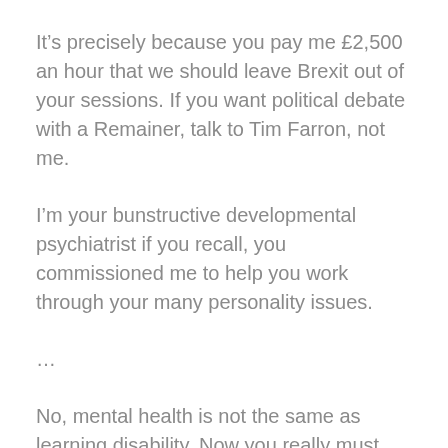It’s precisely because you pay me £2,500 an hour that we should leave Brexit out of your sessions. If you want political debate with a Remainer, talk to Tim Farron, not me.
I’m your bunstructive developmental psychiatrist if you recall, you commissioned me to help you work through your many personality issues.
…
No, mental health is not the same as learning disability. Now you really must make an effort to remember this.
…